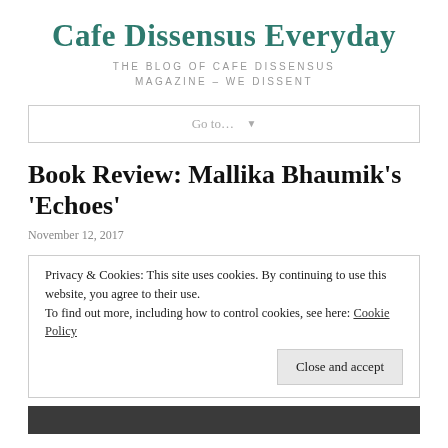Cafe Dissensus Everyday
THE BLOG OF CAFE DISSENSUS MAGAZINE – WE DISSENT
Go to…  ▼
Book Review: Mallika Bhaumik's 'Echoes'
November 12, 2017
Privacy & Cookies: This site uses cookies. By continuing to use this website, you agree to their use.
To find out more, including how to control cookies, see here: Cookie Policy
Close and accept
[Figure (photo): Dark photo strip at the bottom of the page]